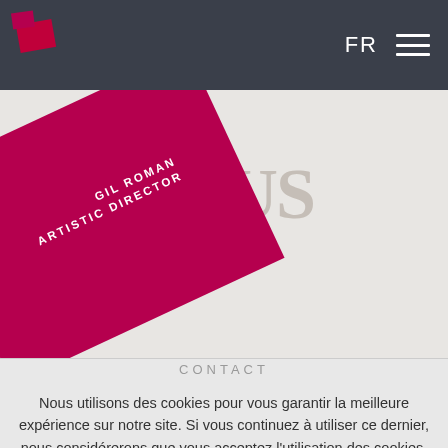[Figure (screenshot): Top navigation bar with dark background, small red logo at top-left, 'FR' language selector and hamburger menu at right]
[Figure (illustration): Rotated crimson/magenta card with 'GIL ROMAN ARTISTIC DIRECTOR' text in white, overlaid on large serif letters 'BA... LAUS...' on a light gray background]
CONTACT
Nous utilisons des cookies pour vous garantir la meilleure expérience sur notre site. Si vous continuez à utiliser ce dernier, nous considérerons que vous acceptez l'utilisation des cookies.
ACCEPTER
EN SAVOIR PLUS